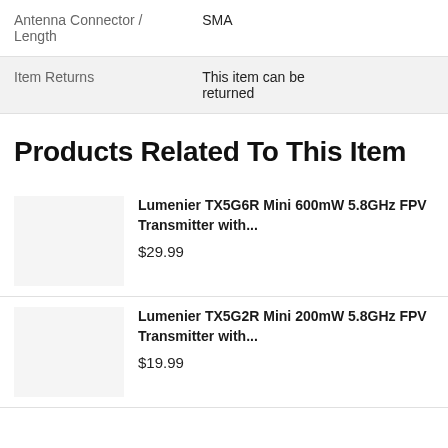|  |  |
| --- | --- |
| Antenna Connector / Length | SMA |
| Item Returns | This item can be returned |
Products Related To This Item
Lumenier TX5G6R Mini 600mW 5.8GHz FPV Transmitter with...
$29.99
Lumenier TX5G2R Mini 200mW 5.8GHz FPV Transmitter with...
$19.99